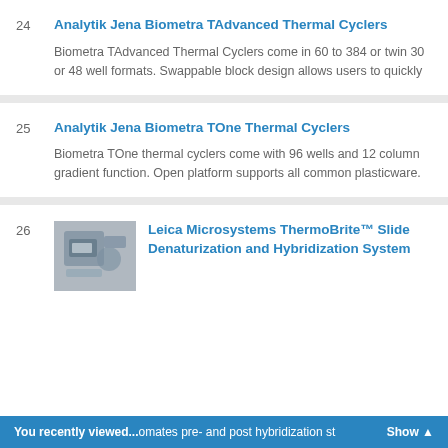24 Analytik Jena Biometra TAdvanced Thermal Cyclers
Biometra TAdvanced Thermal Cyclers come in 60 to 384 or twin 30 or 48 well formats. Swappable block design allows users to quickly
25 Analytik Jena Biometra TOne Thermal Cyclers
Biometra TOne thermal cyclers come with 96 wells and 12 column gradient function. Open platform supports all common plasticware.
26 Leica Microsystems ThermoBrite™ Slide Denaturization and Hybridization System
...automates pre- and post hybridization st...
You recently viewed... Show ▲